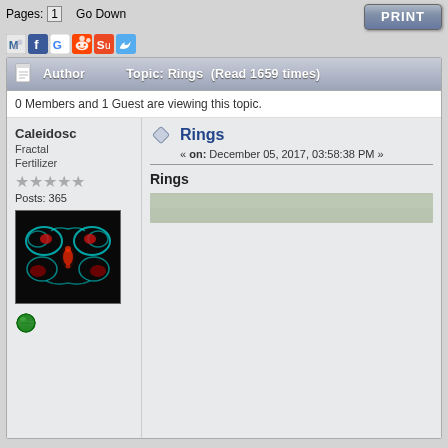Pages: [1]   Go Down
[Figure (screenshot): Print button (top right)]
[Figure (screenshot): Social media sharing icons: MySpace, Facebook, Google, Reddit, StumbleUpon, Twitter]
Author   Topic: Rings  (Read 1659 times)
0 Members and 1 Guest are viewing this topic.
Caleidosc
Fractal Fertilizer
☆☆☆☆
☆
Posts: 365
Rings
« on: December 05, 2017, 03:58:38 PM »
Rings
[Figure (photo): Black background fractal art image showing a butterfly-like creature with teal/cyan and red glowing elements]
[Figure (illustration): Green globe/world icon]